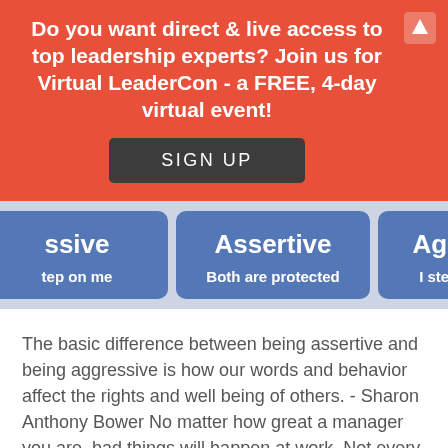Do you want direct & live access to top leadership experts? Join us for Virtual LeaderCon - a FREE, 4-day virtual event!
[Figure (infographic): Three cards showing communication styles: Passive (I step on me), Assertive (Both are protected), Aggressive (I step on [others])]
The basic difference between being assertive and being aggressive is how our words and behavior affect the rights and well being of others. - Sharon Anthony Bower No matter how great a manager you are, bad things will happen at work. Not every day, but